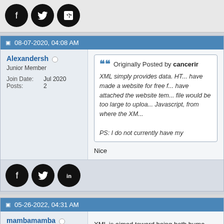[Figure (other): Social media icons: Facebook, Twitter, LinkedIn (black circles)]
08-07-2020, 04:08 AM
Alexandersh
Junior Member
Join Date: Jul 2020
Posts: 2
Originally Posted by cancerir
XML simply provides data. HT... have made a website for free f... have attached the website tem... file would be too large to uploa... Javascript, from where the XM...
PS: I do not currently have my
Nice
[Figure (other): Social media icons: Facebook, Twitter, LinkedIn (black circles)]
05-26-2022, 04:31 AM
mambamamba
Junior Member
Join Date: May 2022
XML is aimed toward being both huma...